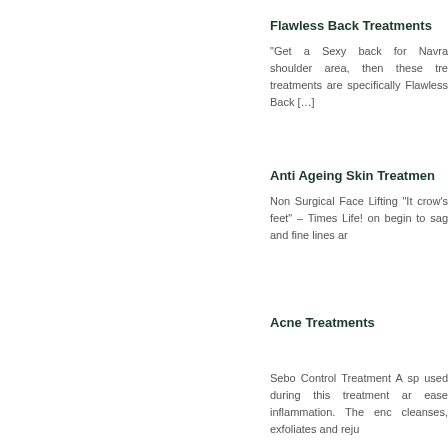Flawless Back Treatments
“Get a Sexy back for Navra shoulder area, then these tre treatments are specifically Flawless Back […]
Anti Ageing Skin Treatmen
Non Surgical Face Lifting “It crow’s feet” – Times Life! on begin to sag and fine lines ar
Acne Treatments
Sebo Control Treatment A sp used during this treatment ar ease inflammation. The enc cleanses, exfoliates and reju